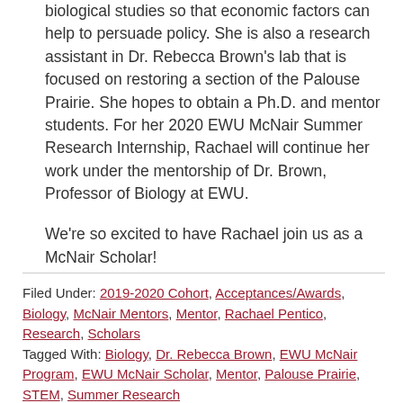biological studies so that economic factors can help to persuade policy. She is also a research assistant in Dr. Rebecca Brown's lab that is focused on restoring a section of the Palouse Prairie. She hopes to obtain a Ph.D. and mentor students. For her 2020 EWU McNair Summer Research Internship, Rachael will continue her work under the mentorship of Dr. Brown, Professor of Biology at EWU.
We're so excited to have Rachael join us as a McNair Scholar!
Filed Under: 2019-2020 Cohort, Acceptances/Awards, Biology, McNair Mentors, Mentor, Rachael Pentico, Research, Scholars
Tagged With: Biology, Dr. Rebecca Brown, EWU McNair Program, EWU McNair Scholar, Mentor, Palouse Prairie, STEM, Summer Research